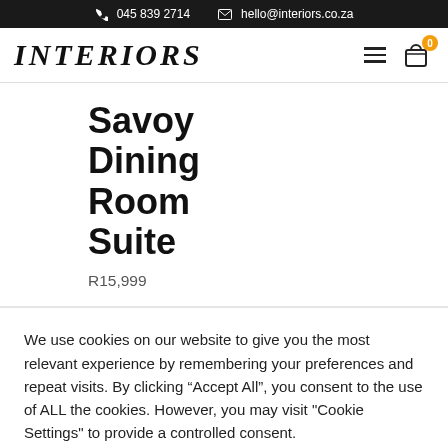045 839 2714   hello@interiors.co.za
[Figure (logo): INTERIORS brand logo with hamburger menu and cart icon showing badge 0]
Savoy Dining Room Suite
R15,999
We use cookies on our website to give you the most relevant experience by remembering your preferences and repeat visits. By clicking “Accept All”, you consent to the use of ALL the cookies. However, you may visit "Cookie Settings" to provide a controlled consent.
Cookie Settings   Accept All